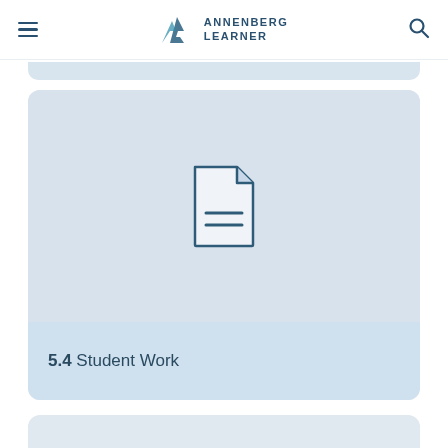Annenberg Learner
[Figure (screenshot): Card with document icon placeholder image for section 5.4 Student Work on the Annenberg Learner website]
5.4 Student Work